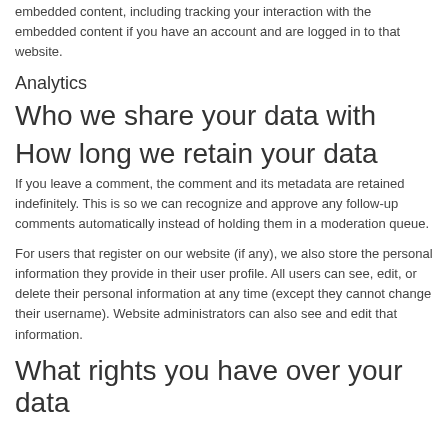additional third-party tracking, and monitor your interaction with that embedded content, including tracking your interaction with the embedded content if you have an account and are logged in to that website.
Analytics
Who we share your data with
How long we retain your data
If you leave a comment, the comment and its metadata are retained indefinitely. This is so we can recognize and approve any follow-up comments automatically instead of holding them in a moderation queue.
For users that register on our website (if any), we also store the personal information they provide in their user profile. All users can see, edit, or delete their personal information at any time (except they cannot change their username). Website administrators can also see and edit that information.
What rights you have over your data